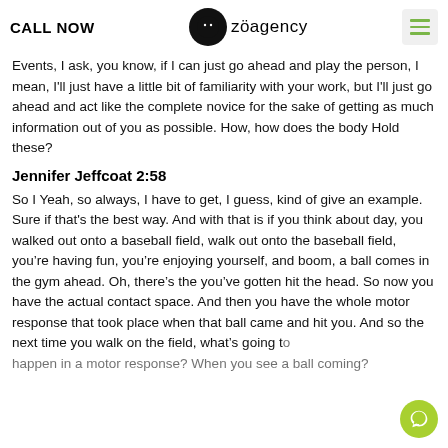CALL NOW | zoagency | menu
Events, I ask, you know, if I can just go ahead and play the person, I mean, I'll just have a little bit of familiarity with your work, but I'll just go ahead and act like the complete novice for the sake of getting as much information out of you as possible. How, how does the body Hold these?
Jennifer Jeffcoat 2:58
So I Yeah, so always, I have to get, I guess, kind of give an example. Sure if that's the best way. And with that is if you think about day, you walked out onto a baseball field, walk out onto the baseball field, you're having fun, you're enjoying yourself, and boom, a ball comes in the gym ahead. Oh, there's the you've gotten hit the head. So now you have the actual contact space. And then you have the whole motor response that took place when that ball came and hit you. And so the next time you walk on the field, what's going to happen in a motor response? When you see a ball coming?